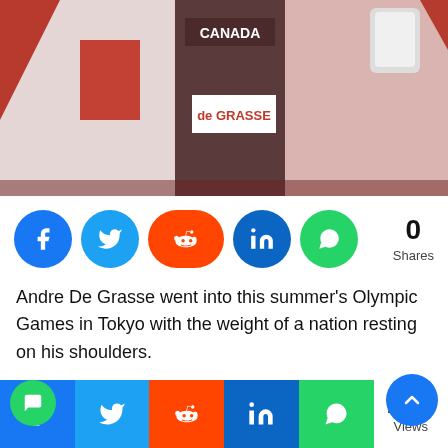[Figure (photo): Andre De Grasse (de GRASSE bib) wearing a Canada Nike uniform, holding a Canadian flag spread behind him, celebrating at the Olympic Games in Tokyo. He is holding what appears to be white sneakers in one hand.]
0 Shares
Andre De Grasse went into this summer's Olympic Games in Tokyo with the weight of a nation resting on his shoulders.
Canadian sprinter picked up three medals at Rio 2 and followed up with another two at the 2019 World
2.5K Views